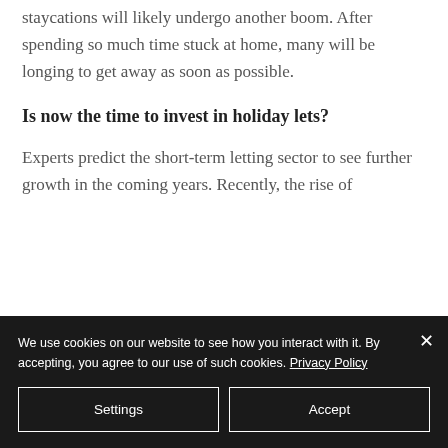staycations will likely undergo another boom. After spending so much time stuck at home, many will be longing to get away as soon as possible.
Is now the time to invest in holiday lets?
Experts predict the short-term letting sector to see further growth in the coming years. Recently, the rise of
We use cookies on our website to see how you interact with it. By accepting, you agree to our use of such cookies. Privacy Policy
Settings
Accept